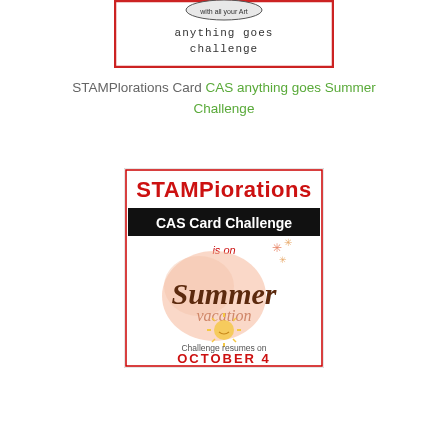[Figure (illustration): Anything Goes Challenge badge with red border, circular logo at top showing 'with all your Art', and stamped text 'anything goes challenge']
STAMPlorations Card CAS anything goes Summer Challenge
[Figure (illustration): STAMPiorations CAS Card Challenge is on Summer Vacation banner. Red stamped STAMPiorations header, black bar with white text 'CAS Card Challenge', 'is on' in red, large script 'Summer vacation' text, sun graphic, 'Challenge resumes on OCTOBER 4' at bottom in red]